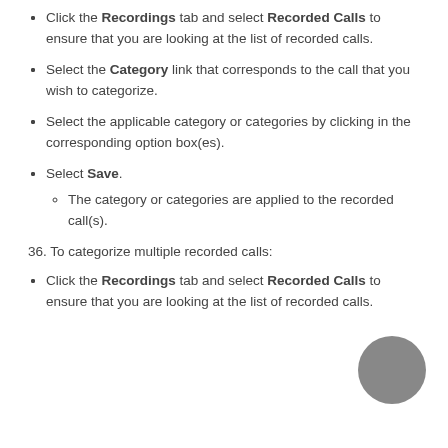Click the Recordings tab and select Recorded Calls to ensure that you are looking at the list of recorded calls.
Select the Category link that corresponds to the call that you wish to categorize.
Select the applicable category or categories by clicking in the corresponding option box(es).
Select Save.
The category or categories are applied to the recorded call(s).
36. To categorize multiple recorded calls:
Click the Recordings tab and select Recorded Calls to ensure that you are looking at the list of recorded calls.